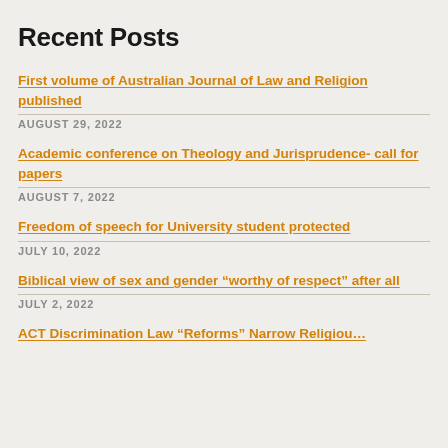Recent Posts
First volume of Australian Journal of Law and Religion published
AUGUST 29, 2022
Academic conference on Theology and Jurisprudence- call for papers
AUGUST 7, 2022
Freedom of speech for University student protected
JULY 10, 2022
Biblical view of sex and gender “worthy of respect” after all
JULY 2, 2022
ACT Discrimination Law “Reforms” Narrow Religious…